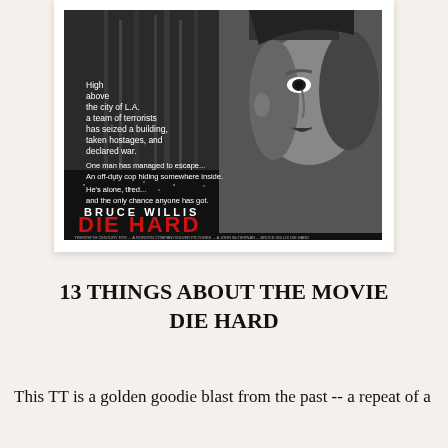[Figure (illustration): Movie poster for 'Die Hard' featuring Bruce Willis. Black and white image of a man's face on the right side and a city skyline/building on the left. Text reads: 'High above the city of L.A. a team of terrorists has seized a building, taken hostages, and declared war. One man has managed to escape... An off-duty cop hiding somewhere inside. He's alone, tired... and the only chance anyone has got.' Large text: 'BRUCE WILLIS' and 'DIE HARD' in bold red letters. Credits listed at the bottom.]
13 THINGS ABOUT THE MOVIE DIE HARD
This TT is a golden goodie blast from the past -- a repeat of a